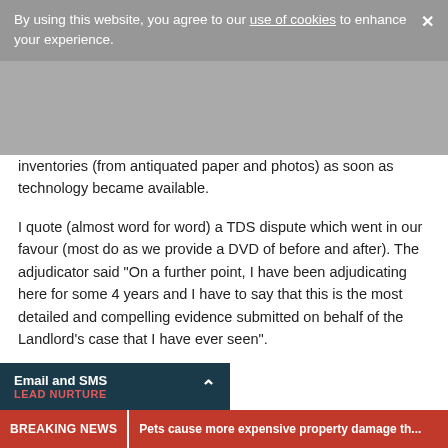By using this website, you agree to our use of cookies to enhance your experience. X
inventories (from antiquated paper and photos) as soon as technology became available.
I quote (almost word for word) a TDS dispute which went in our favour (most do as we provide a DVD of before and after). The adjudicator said "On a further point, I have been adjudicating here for some 4 years and I have to say that this is the most detailed and compelling evidence submitted on behalf of the Landlord's case that I have ever seen".
I have spoken to an adjudicator ho happens to be a family friend and she states that they prefer video er/photos AS LONG AS THE TED CONCISELY!
Email and SMS LEAD NURTURE | BREAKING NEWS Pets cause more expensive property damage th...